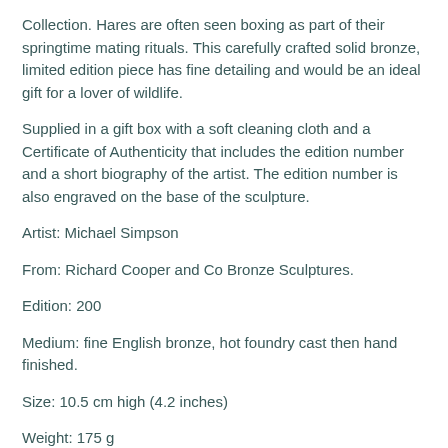Collection. Hares are often seen boxing as part of their springtime mating rituals. This carefully crafted solid bronze, limited edition piece has fine detailing and would be an ideal gift for a lover of wildlife.
Supplied in a gift box with a soft cleaning cloth and a Certificate of Authenticity that includes the edition number and a short biography of the artist. The edition number is also engraved on the base of the sculpture.
Artist: Michael Simpson
From: Richard Cooper and Co Bronze Sculptures.
Edition: 200
Medium: fine English bronze, hot foundry cast then hand finished.
Size: 10.5 cm high (4.2 inches)
Weight: 175 g
£95.95
QTY: 1